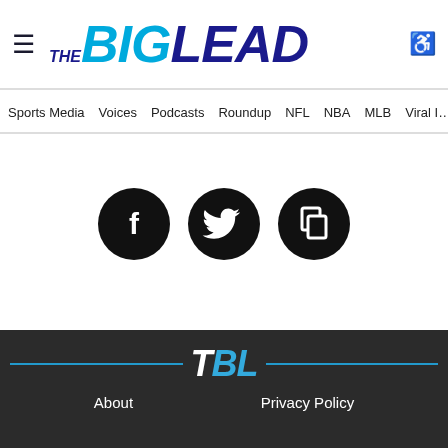THE BIG LEAD — navigation header with logo and hamburger menu
Sports Media   Voices   Podcasts   Roundup   NFL   NBA   MLB   Viral I…
[Figure (infographic): Three black circular social media icon buttons: Facebook (f), Twitter (bird), and a copy/share icon]
TBL logo with cyan lines on dark background. Links: About, Privacy Policy